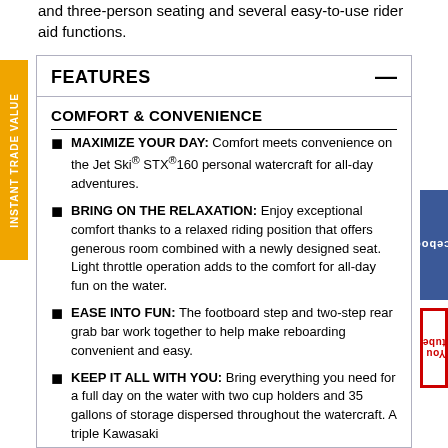and three-person seating and several easy-to-use rider aid functions.
FEATURES
COMFORT & CONVENIENCE
MAXIMIZE YOUR DAY: Comfort meets convenience on the Jet Ski® STX®160 personal watercraft for all-day adventures.
BRING ON THE RELAXATION: Enjoy exceptional comfort thanks to a relaxed riding position that offers generous room combined with a newly designed seat. Light throttle operation adds to the comfort for all-day fun on the water.
EASE INTO FUN: The footboard step and two-step rear grab bar work together to help make reboarding convenient and easy.
KEEP IT ALL WITH YOU: Bring everything you need for a full day on the water with two cup holders and 35 gallons of storage dispersed throughout the watercraft. A triple Kawasaki